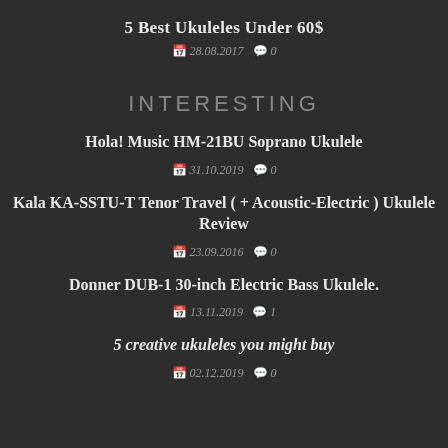5 Best Ukuleles Under 60$
📅 28.08.2017  🗨 0
INTERESTING
Hola! Music HM-21BU Soprano Ukulele
📅 31.10.2019  🗨 0
Kala KA-SSTU-T Tenor Travel ( + Acoustic-Electric ) Ukulele Review
📅 23.09.2016  🗨 0
Donner DUB-1 30-inch Electric Bass Ukulele.
📅 13.11.2019  🗨 1
5 creative ukuleles you might buy
📅 02.12.2019  🗨 0